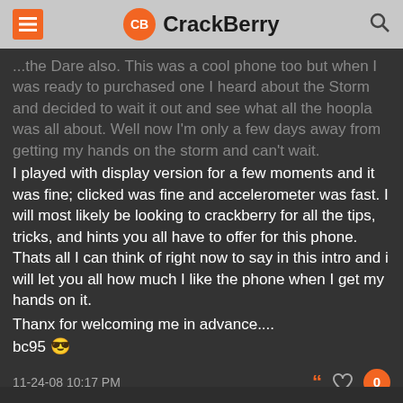CrackBerry
...the Dare also. This was a cool phone too but when I was ready to purchased one I heard about the Storm and decided to wait it out and see what all the hoopla was all about. Well now I'm only a few days away from getting my hands on the storm and can't wait.
I played with display version for a few moments and it was fine; clicked was fine and accelerometer was fast. I will most likely be looking to crackberry for all the tips, tricks, and hints you all have to offer for this phone. Thats all I can think of right now to say in this intro and i will let you all how much I like the phone when I get my hands on it.
Thanx for welcoming me in advance....
bc95 😎
11-24-08 10:17 PM